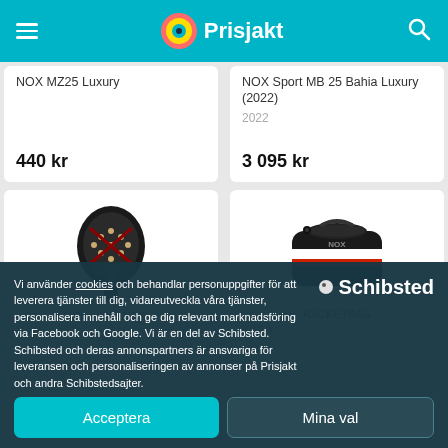Prisjakt
NOX MZ25 Luxury
440 kr
NOX Sport MB 25 Bahia Luxury (2022)
2022
3 095 kr
[Figure (photo): Padel racket, black with X pattern, NOX brand]
Shotgun (2022)
[Figure (photo): Sports bag, black with red and white stripes, NOX brand]
RACKETBAG
679 kr
Vi använder cookies och behandlar personuppgifter för att leverera tjänster till dig, vidareutveckla våra tjänster, personalisera innehåll och ge dig relevant marknadsföring via Facebook och Google. Vi är en del av Schibsted. Schibsted och deras annonspartners är ansvariga för leveransen och personaliseringen av annonser på Prisjakt och andra Schibstedsajter.
Acceptera
Mina val